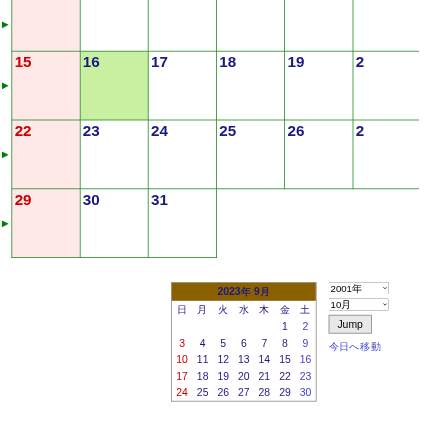[Figure (other): Monthly calendar view showing partial month with dates 15-31, Sunday column highlighted in pink, date 16 highlighted in green. Below is a mini September 2023 calendar with navigation controls (year/month dropdowns, Jump button, today link).]